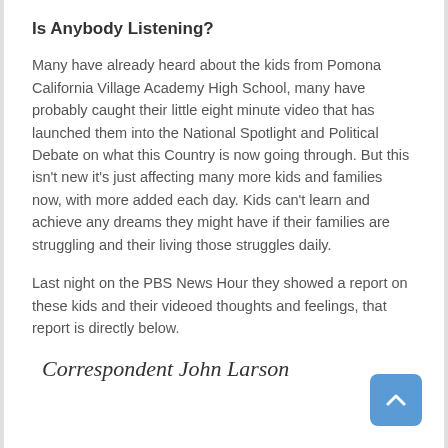Is Anybody Listening?
Many have already heard about the kids from Pomona California Village Academy High School, many have probably caught their little eight minute video that has launched them into the National Spotlight and Political Debate on what this Country is now going through. But this isn't new it's just affecting many more kids and families now, with more added each day. Kids can't learn and achieve any dreams they might have if their families are struggling and their living those struggles daily.
Last night on the PBS News Hour they showed a report on these kids and their videoed thoughts and feelings, that report is directly below.
Correspondent John Larson